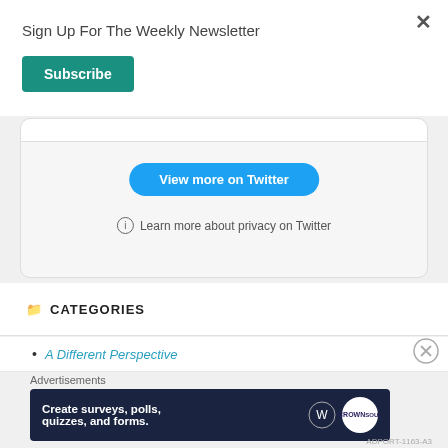Sign Up For The Weekly Newsletter
Subscribe
[Figure (screenshot): Twitter embedded widget with a 'View more on Twitter' button and privacy note]
CATEGORIES
A Different Perspective
Advertisements
[Figure (infographic): Advertisement banner: Create surveys, polls, quizzes, and forms. WordPress and Crown logo.]